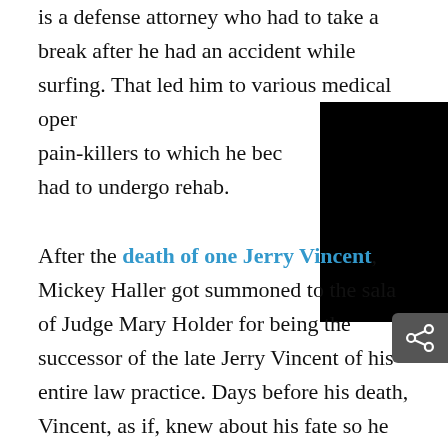is a defense attorney who had to take a break after he had an accident while surfing. That led him to various medical oper[ations and] pain-killers to which he bec[ame addicted and] had to undergo rehab. After the death of one Jerry Vincent, Mickey Haller got summoned to the sala of Judge Mary Holder for being the successor of the late Jerry Vincent of his entire law practice. Days before his death, Vincent, as if, knew about his fate so he ensured that Haller would inherit his practice as well as all the cases he was handling, including the high-profile case of Trevor Elliot, a game developer.